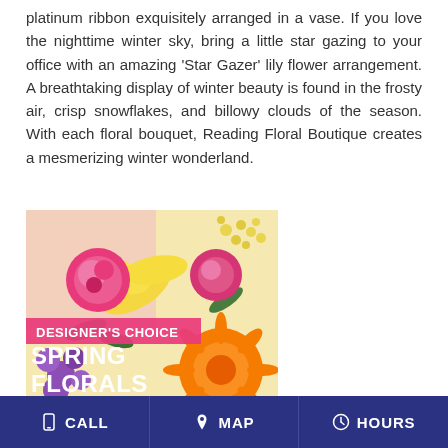platinum ribbon exquisitely arranged in a vase. If you love the nighttime winter sky, bring a little star gazing to your office with an amazing 'Star Gazer' lily flower arrangement. A breathtaking display of winter beauty is found in the frosty air, crisp snowflakes, and billowy clouds of the season. With each floral bouquet, Reading Floral Boutique creates a mesmerizing winter wonderland.
[Figure (photo): Colorful spring flower bouquet with pink roses, yellow lilies, orange gerbera daisy, purple blooms, and greenery. Overlaid text reads 'DESIGNER'S CHOICE' in pink banner and 'SPRING FLORALS' in large white bold text.]
CALL   MAP   HOURS